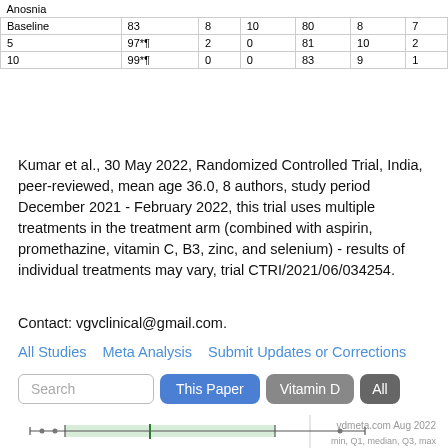|  |  |  |  |  |  |  |
| --- | --- | --- | --- | --- | --- | --- |
| Anosnia |  |  |  |  |  |  |
| Baseline | 83 | 8 | 10 | 80 | 8 | 7 |
| 5 | 97*¶ | 2 | 0 | 81 | 10 | 2 |
| 10 | 99*¶ | 0 | 0 | 83 | 9 | 1 |
Kumar et al., 30 May 2022, Randomized Controlled Trial, India, peer-reviewed, mean age 36.0, 8 authors, study period December 2021 - February 2022, this trial uses multiple treatments in the treatment arm (combined with aspirin, promethazine, vitamin C, B3, zinc, and selenium) - results of individual treatments may vary, trial CTRI/2021/06/034254.
Contact: vgvclinical@gmail.com.
All Studies   Meta Analysis   Submit Updates or Corrections
[Figure (other): Search bar with placeholder 'Search' and buttons: 'This Paper' (blue), 'Vitamin D' (gray), 'All' (dark gray)]
[Figure (continuous-plot): Forest plot showing early treatment effect with horizontal box-and-whisker style plot, green shaded region, dots and lines on a horizontal axis. Watermark: vdmeta.com Aug 2022. Legend: min, Q1, median, Q3, max.]